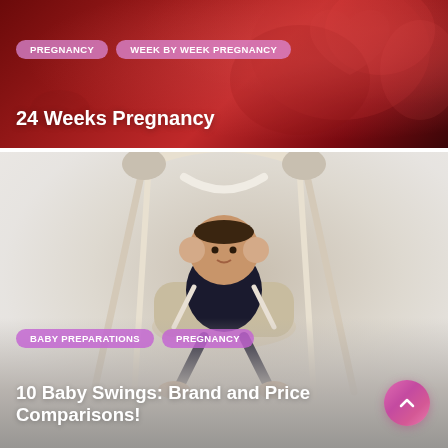[Figure (photo): Dark red medical/pregnancy background with glowing heart imagery]
PREGNANCY
WEEK BY WEEK PREGNANCY
24 Weeks Pregnancy
[Figure (photo): Baby sitting in a beige baby swing/bouncer chair against a light background]
BABY PREPARATIONS
PREGNANCY
10 Baby Swings: Brand and Price Comparisons!